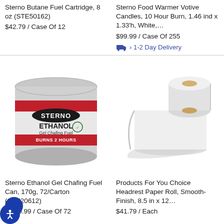Sterno Butane Fuel Cartridge, 8 oz (STE50162)
$42.79 / Case Of 12
Sterno Food Warmer Votive Candles, 10 Hour Burn, 1.46 ind x 1.33'h, White,...
$99.99 / Case Of 255
› 1-2 Day Delivery
[Figure (photo): Sterno Ethanol Gel Chafing Fuel Can, a silver tin can with red label showing STERNO ETHANOL Gel Chafing Fuel BURNS 2 HOURS]
[Figure (photo): White paper headrest roll, smooth finish, partially unrolled showing the roll and flat sheet]
Sterno Ethanol Gel Chafing Fuel Can, 170g, 72/Carton (STE20612)
80.99 / Case Of 72
Products For You Choice Headrest Paper Roll, Smooth-Finish, 8.5 in x 12....
$41.79 / Each